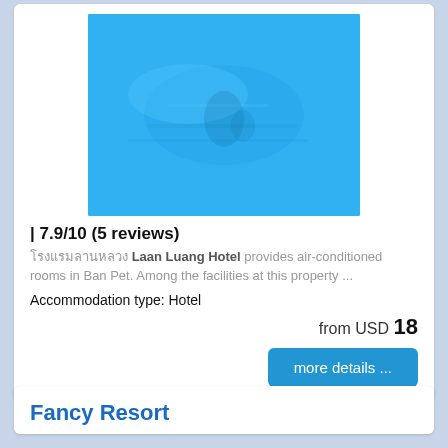[Figure (photo): Hotel swimming pool image, predominantly bright blue color]
| 7.9/10 (5 reviews)
โรงแรมลานหลวง Laan Luang Hotel provides air-conditioned rooms in Ban Pet. Among the facilities at this property ...
Accommodation type: Hotel
from USD 18
more details ...
Fancy Resort